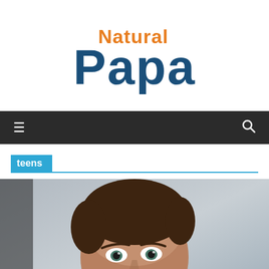[Figure (logo): Natural Papa logo with 'Natural' in orange and 'Papa' in dark blue, stylized rounded font]
≡   🔍
teens
[Figure (photo): Close-up photograph of a young teenage boy with brown hair, resting his chin on his hand, looking thoughtful, blurred background]